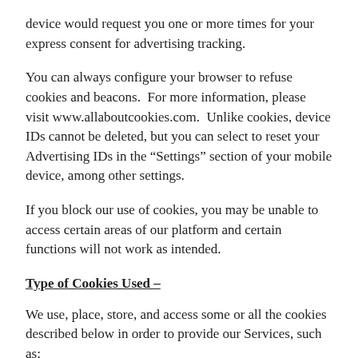device would request you one or more times for your express consent for advertising tracking.
You can always configure your browser to refuse cookies and beacons.  For more information, please visit www.allaboutcookies.com.  Unlike cookies, device IDs cannot be deleted, but you can select to reset your Advertising IDs in the “Settings” section of your mobile device, among other settings.
If you block our use of cookies, you may be unable to access certain areas of our platform and certain functions will not work as intended.
Type of Cookies Used –
We use, place, store, and access some or all the cookies described below in order to provide our Services, such as: